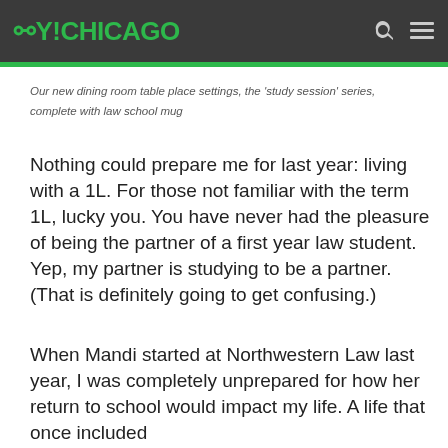OY!CHICAGO
Our new dining room table place settings, the 'study session' series, complete with law school mug
Nothing could prepare me for last year: living with a 1L. For those not familiar with the term 1L, lucky you. You have never had the pleasure of being the partner of a first year law student. Yep, my partner is studying to be a partner. (That is definitely going to get confusing.)
When Mandi started at Northwestern Law last year, I was completely unprepared for how her return to school would impact my life. A life that once included